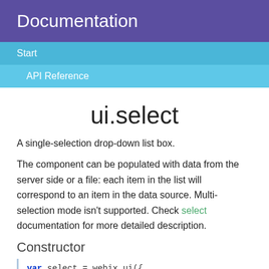Documentation
Start
API Reference
ui.select
A single-selection drop-down list box.
The component can be populated with data from the server side or a file: each item in the list will correspond to an item in the data source. Multi-selection mode isn't supported. Check select documentation for more detailed description.
Constructor
var select = webix.ui({
    view:"select"